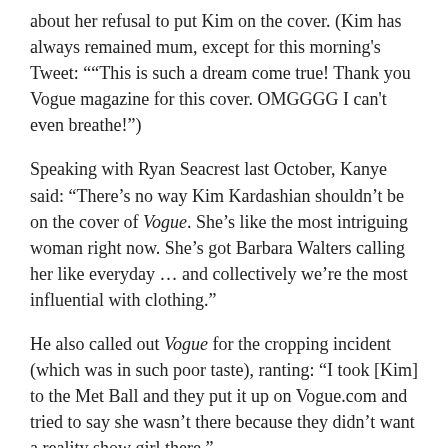about her refusal to put Kim on the cover. (Kim has always remained mum, except for this morning's Tweet: ""This is such a dream come true! Thank you Vogue magazine for this cover. OMGGGG I can't even breathe!")
Speaking with Ryan Seacrest last October, Kanye said: “There’s no way Kim Kardashian shouldn’t be on the cover of Vogue. She’s like the most intriguing woman right now. She’s got Barbara Walters calling her like everyday … and collectively we’re the most influential with clothing.”
He also called out Vogue for the cropping incident (which was in such poor taste), ranting: “I took [Kim] to the Met Ball and they put it up on Vogue.com and tried to say she wasn’t there because they didn’t want a reality show girl there.”